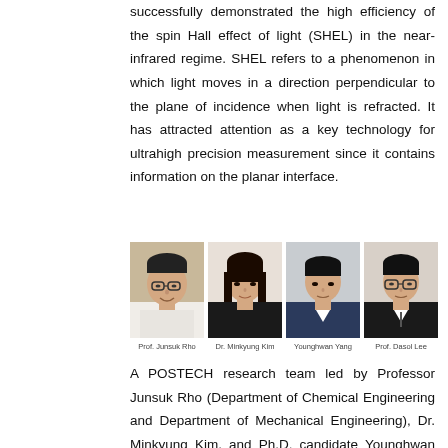successfully demonstrated the high efficiency of the spin Hall effect of light (SHEL) in the near-infrared regime. SHEL refers to a phenomenon in which light moves in a direction perpendicular to the plane of incidence when light is refracted. It has attracted attention as a key technology for ultrahigh precision measurement since it contains information on the planar interface.
[Figure (photo): Four portrait photos of researchers: Prof. Junsuk Rho, Dr. Minkyung Kim, Younghwan Yang, Prof. Dasol Lee]
Prof. Junsuk Rho   Dr. Minkyung Kim   Younghwan Yang   Prof. Dasol Lee
A POSTECH research team led by Professor Junsuk Rho (Department of Chemical Engineering and Department of Mechanical Engineering), Dr. Minkyung Kim, and Ph.D. candidate Younghwan Yang